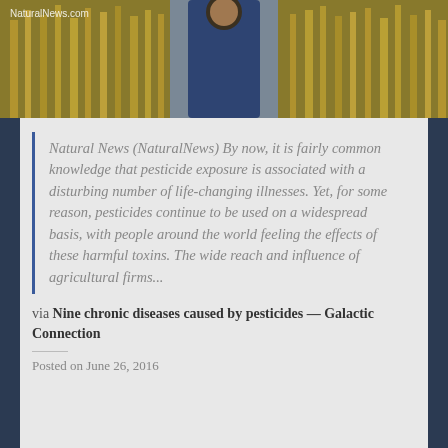[Figure (photo): Person standing in a grain field, wearing a blue jacket. NaturalNews.com watermark visible in top left corner.]
Natural News (NaturalNews) By now, it is fairly common knowledge that pesticide exposure is associated with a disturbing number of life-changing illnesses. Yet, for some reason, pesticides continue to be used on a widespread basis, with people around the world feeling the effects of these harmful toxins. The wide reach and influence of agricultural firms...
via Nine chronic diseases caused by pesticides — Galactic Connection
Posted on June 26, 2016